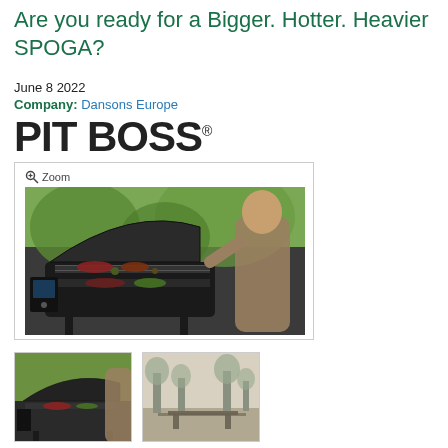Are you ready for a Bigger. Hotter. Heavier SPOGA?
June 8 2022
Company: Dansons Europe
[Figure (logo): PIT BOSS logo in bold black text with registered trademark symbol]
[Figure (photo): Woman opening lid of a large Pit Boss pellet grill/smoker outdoors, with food visible on multiple grill grates inside, green foliage in background. Zoom button visible in upper left.]
[Figure (photo): Thumbnail: woman at Pit Boss grill, similar angle to main photo]
[Figure (photo): Thumbnail: outdoor seating/patio area with trees in background, lighter scene]